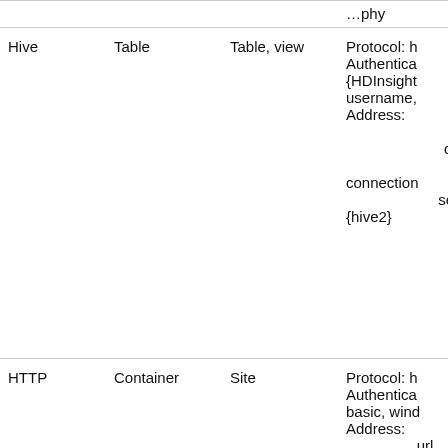| Source | Object type | Supported assets | Connection details |
| --- | --- | --- | --- |
| Hive | Table | Table, view | Protocol: h
Authentica
{HDInsight
username,
Address:
  server
  databa
  object
  connection
  serverP
{hive2} |
| HTTP | Container | Site | Protocol: h
Authentica
basic, wind
Address:
  url |
| HTTP | Report | Report, dashboard | Protocol: h
Authentica
basic, wind |